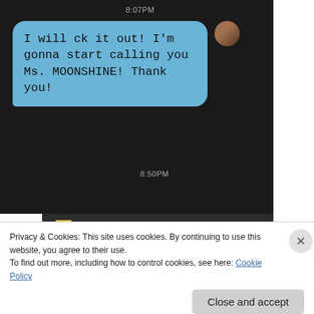[Figure (screenshot): Mobile text message screenshot on black background showing time '8:07PM' at top, a blue speech bubble with text 'I will ck it out! I'm gonna start calling you Ms. MOONSHINE! Thank you!' and timestamp '8:50PM', with a small avatar photo on the right.]
[Figure (screenshot): Second mobile text message screenshot showing conversation header with back arrow, yellow envelope icon, contact name 'Michelle D.' with butterfly emojis, phone and trash icons. Blue chat bubble with ';) ditto girl.' and timestamp '12:39AM'. Below is another blue bubble with a black image containing a small white dot of light.]
Privacy & Cookies: This site uses cookies. By continuing to use this website, you agree to their use.
To find out more, including how to control cookies, see here: Cookie Policy
Close and accept